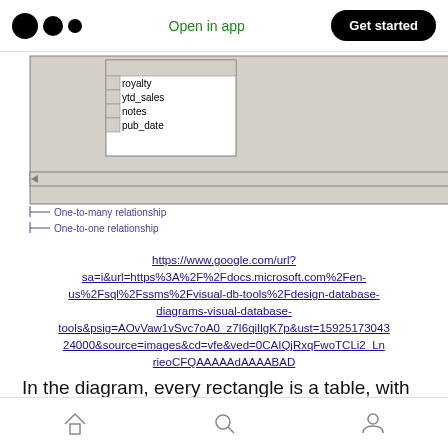Open in app | Get started
[Figure (screenshot): Database diagram screenshot showing table fields: royalty, ytd_sales, notes, pub_date on left table; ord_date, qty, payterms, title_id on right table. Labels: One-to-many relationship, One-to-one relationship, Column name, Table name.]
https://www.google.com/url?sa=i&url=https%3A%2F%2Fdocs.microsoft.com%2Fen-us%2Fsql%2Fssms%2Fvisual-db-tools%2Fdesign-database-diagrams-visual-database-tools&psig=AOvVaw1vSvc7oA0_z7I6qiIlgK7p&ust=15925173043 24000&source=images&cd=vfe&ved=0CAIQjRxqFwoTCLi2_LnrieoCFQAAAAAdAAAABAD
In the diagram, every rectangle is a table, with the table's name recorded at the top. For this
Home | Search | Profile